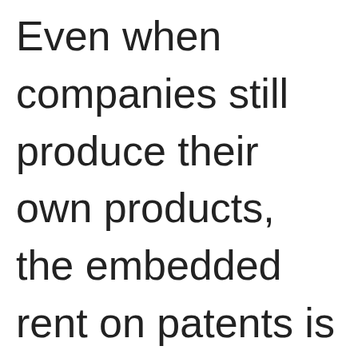Even when companies still produce their own products, the embedded rent on patents is a huge part of the price;